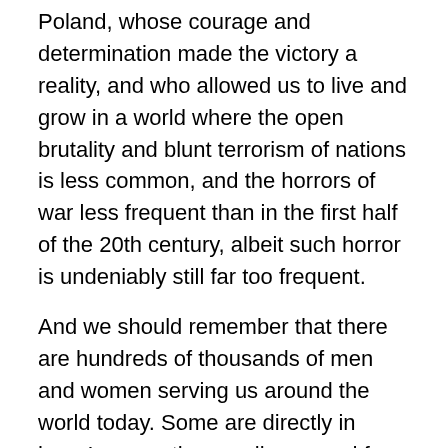Poland, whose courage and determination made the victory a reality, and who allowed us to live and grow in a world where the open brutality and blunt terrorism of nations is less common, and the horrors of war less frequent than in the first half of the 20th century, albeit such horror is undeniably still far too frequent.
And we should remember that there are hundreds of thousands of men and women serving us around the world today. Some are directly in harm’s way, others well-removed from the front. But all serve. These people, too, deserve our thanks. So as we remember and honor the men and women of what Tom Brokaw has aptly styled “The Greatest Generation,” we should also say thank you to those who today rise to the challenge and serve a great nation even unto their last full measure.